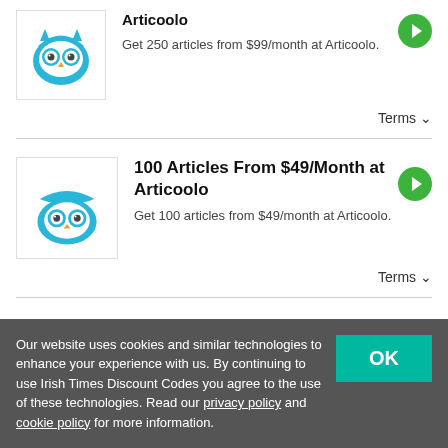[Figure (logo): Articoolo blue owl logo]
Articoolo
Get 250 articles from $99/month at Articoolo.
Terms ∨
[Figure (logo): Articoolo blue owl logo]
100 Articles From $49/Month at Articoolo
Get 100 articles from $49/month at Articoolo.
Terms ∨
Our website uses cookies and similar technologies to enhance your experience with us. By continuing to use Irish Times Discount Codes you agree to the use of these technologies. Read our privacy policy and cookie policy for more information.